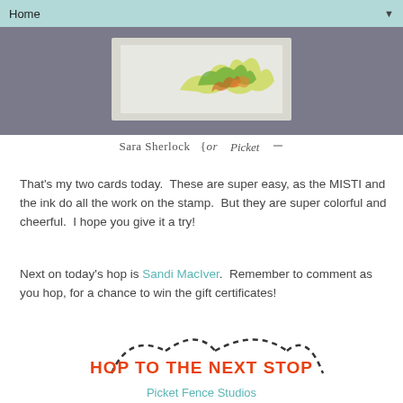Home ▼
[Figure (photo): Craft card image on dark gray background with a white card insert showing colorful leaf/floral artwork]
Sara Sherlock  {or  [Picket Fence Studios logo]
That's my two cards today.  These are super easy, as the MISTI and the ink do all the work on the stamp.  But they are super colorful and cheerful.  I hope you give it a try!
Next on today's hop is Sandi MacIver.  Remember to comment as you hop, for a chance to win the gift certificates!
[Figure (illustration): Dashed arc/bunny ears decorative graphic above HOP TO THE NEXT STOP button text]
HOP TO THE NEXT STOP
Picket Fence Studios